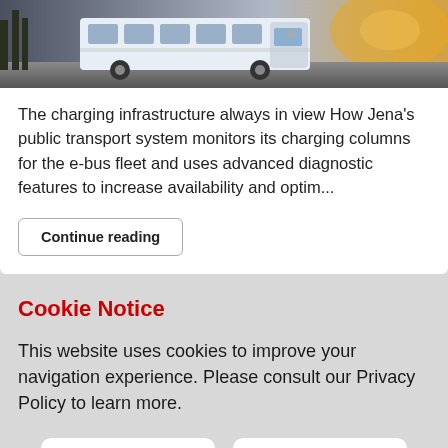[Figure (photo): Photo of a white bus on a road, partially cropped at top]
The charging infrastructure always in view How Jena's public transport system monitors its charging columns for the e-bus fleet and uses advanced diagnostic features to increase availability and optim...
Continue reading
Cookie Notice
This website uses cookies to improve your navigation experience. Please consult our Privacy Policy to learn more.
Cookie Policy
Ok